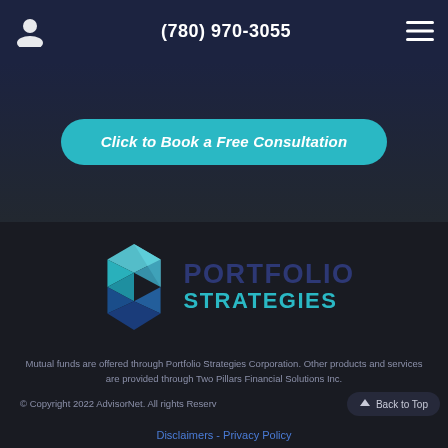(780) 970-3055
Click to Book a Free Consultation
[Figure (logo): Portfolio Strategies hexagon logo with teal and blue geometric diamond shapes, beside text PORTFOLIO STRATEGIES]
Mutual funds are offered through Portfolio Strategies Corporation. Other products and services are provided through Two Pillars Financial Solutions Inc.
© Copyright 2022 AdvisorNet. All rights Reserv
Disclaimers  -  Privacy Policy